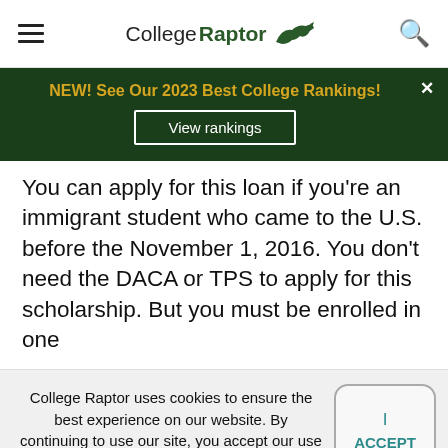CollegeRaptor
NEW! See Our 2023 Best College Rankings! View rankings
You can apply for this loan if you're an immigrant student who came to the U.S. before the November 1, 2016. You don't need the DACA or TPS to apply for this scholarship. But you must be enrolled in one
College Raptor uses cookies to ensure the best experience on our website. By continuing to use our site, you accept our use of cookies. Learn more.